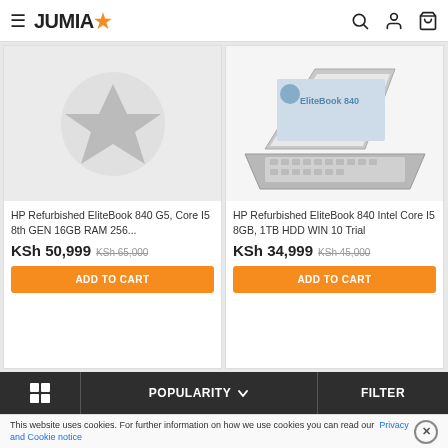JUMIA
[Figure (photo): Jumia logo placeholder with star icon (grey background)]
HP Refurbished EliteBook 840 G5, Core I5 8th GEN 16GB RAM 256...
KSh 50,999 KSh 65,000
[Figure (photo): HP EliteBook 840 laptop product photo on white background]
HP Refurbished EliteBook 840 Intel Core I5 8GB, 1TB HDD WIN 10 Trial
KSh 34,999 KSh 45,000
POPULARITY   FILTER
This website uses cookies. For further information on how we use cookies you can read our Privacy and Cookie notice